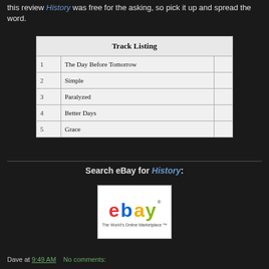this review History was free for the asking, so pick it up and spread the word.
| Track Listing |  |  |
| --- | --- | --- |
| 1 | The Day Before Tomorrow |  |
| 2 | Simple |  |
| 3 | Paralyzed |  |
| 4 | Better Days |  |
| 5 | Grace |  |
Search eBay for History:
[Figure (logo): eBay logo - The World's Online Marketplace]
Dave at 9:49 AM    No comments: